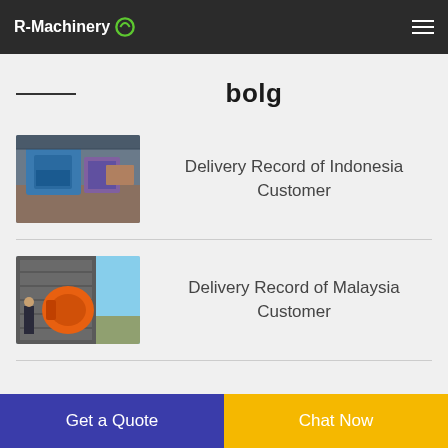R-Machinery
bolg
Delivery Record of Indonesia Customer
Delivery Record of Malaysia Customer